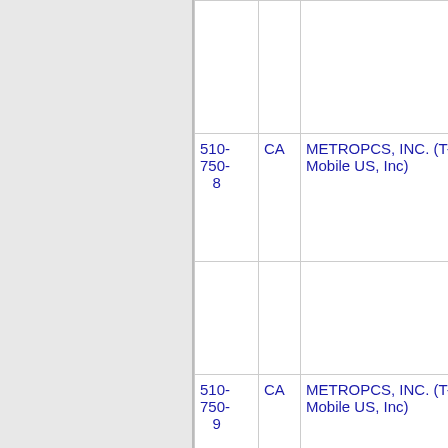| 510-750-8 | CA | METROPCS, INC. (T-Mobile US, Inc) | 5562 |  |
| 510-750-9 | CA | METROPCS, INC. (T-Mobile US, Inc) | 5562 |  |